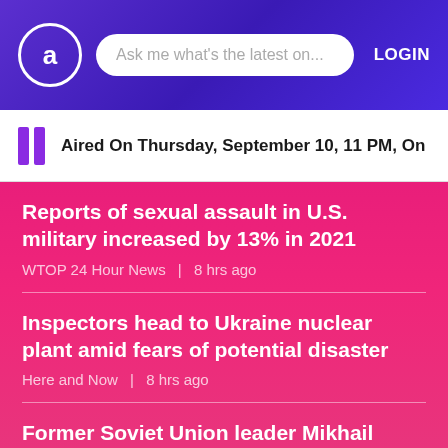Ask me what's the latest on... LOGIN
Aired On Thursday, September 10, 11 PM, On NewsRad...
Reports of sexual assault in U.S. military increased by 13% in 2021
WTOP 24 Hour News  8 hrs ago
Inspectors head to Ukraine nuclear plant amid fears of potential disaster
Here and Now  8 hrs ago
Former Soviet Union leader Mikhail Gorbachev dies at 91
Bloomberg Radio New York Show  9 hrs ago